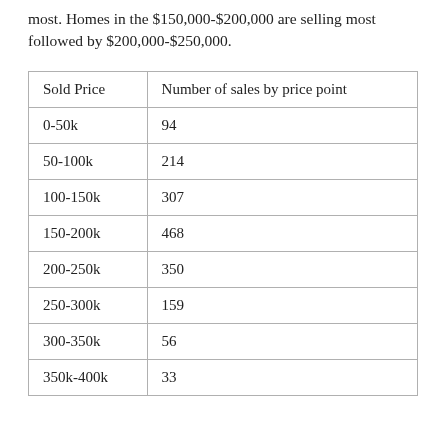most. Homes in the $150,000-$200,000 are selling most followed by $200,000-$250,000.
| Sold Price | Number of sales by price point |
| --- | --- |
| 0-50k | 94 |
| 50-100k | 214 |
| 100-150k | 307 |
| 150-200k | 468 |
| 200-250k | 350 |
| 250-300k | 159 |
| 300-350k | 56 |
| 350k-400k | 33 |